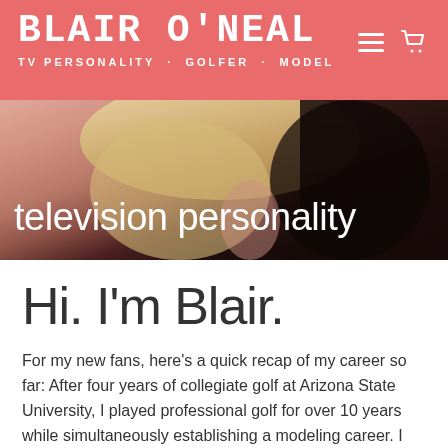BLAIR O'NEAL — TV PERSONALITY · GOLFER · MODEL
[Figure (photo): Hero background photo showing a blonde woman in a black top, with text overlay 'television personality' in white]
Hi. I'm Blair.
For my new fans, here's a quick recap of my career so far: After four years of collegiate golf at Arizona State University, I played professional golf for over 10 years while simultaneously establishing a modeling career. I was the winner of the Golf Channel's BIG BREAK: